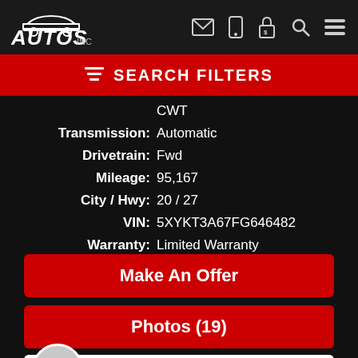AUTOS inc — nav bar with icons
SEARCH FILTERS
CWT
Transmission: Automatic
Drivetrain: Fwd
Mileage: 95,167
City / Hwy: 20 / 27
VIN: 5XYKT3A67FG646482
Warranty: Limited Warranty
Stock: 22039
Make An Offer
Photos (19)
TEXT US! WE ARE HERE TO HELP!